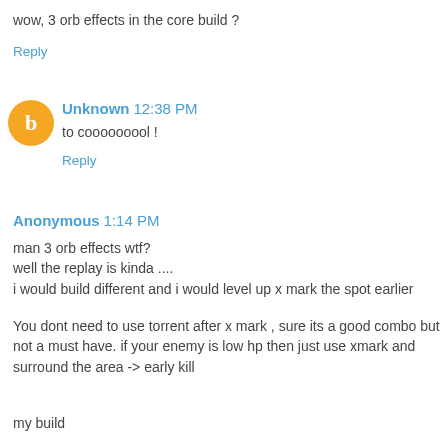wow, 3 orb effects in the core build ?
Reply
Unknown 12:38 PM
to cooooooool !
Reply
Anonymous 1:14 PM
man 3 orb effects wtf?
well the replay is kinda ....
i would build different and i would level up x mark the spot earlier
You dont need to use torrent after x mark , sure its a good combo but not a must have. if your enemy is low hp then just use xmark and surround the area -> early kill
my build